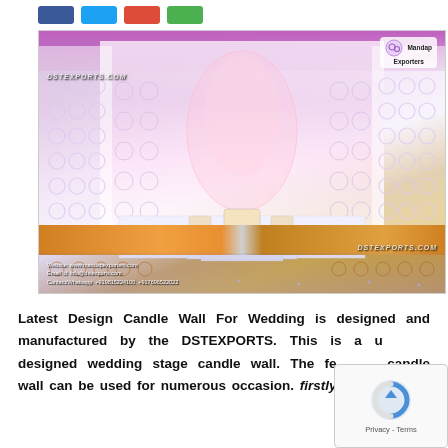[Figure (photo): Wedding stage decoration with candle wall panels showing circular ring designs, a floral backdrop centerpiece, ornate furniture on a white raised platform, glowing orange front panels, purple ambient ceiling lighting, and a reflective floor. Watermarks: DSTEXPORTS.COM, Mandap Exporters logo, and contact details.]
Latest Design Candle Wall For Wedding is designed and manufactured by the DSTEXPORTS. This is a uniquely designed wedding stage candle wall. The features candle wall can be used for numerous occasion. firstly it